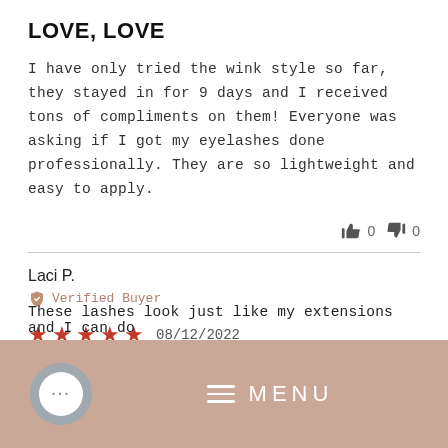LOVE, LOVE
I have only tried the wink style so far, they stayed in for 9 days and I received tons of compliments on them! Everyone was asking if I got my eyelashes done professionally. They are so lightweight and easy to apply.
Laci P.
Verified Buyer
08/12/2022
These lashes look just like my extensions and I can do